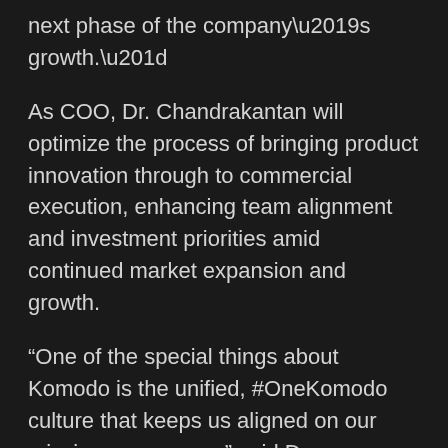next phase of the company’s growth.”
As COO, Dr. Chandrakantan will optimize the process of bringing product innovation through to commercial execution, enhancing team alignment and investment priorities amid continued market expansion and growth.
“One of the special things about Komodo is the unified, #OneKomodo culture that keeps us aligned on our mission as we grow,” said Dr. Chandrakantan. “Not only does that culture make this a great place to work, but it also enhances our ability to succeed in the market. I’m proud of the many successes we’ve delivered toward our